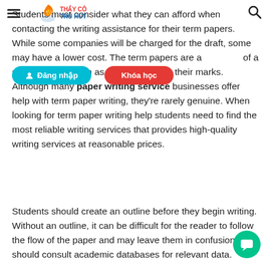Students must consider what they can afford when contacting the writing assistance for their term papers. While some companies will be charged for the draft, some may have a lower cost. The term papers are a part of a student's education as they can impact their marks. Although many paper writing service businesses offer help with term paper writing, they're rarely genuine. When looking for term paper writing help students need to find the most reliable writing services that provides high-quality writing services at reasonable prices.
Students should create an outline before they begin writing. Without an outline, it can be difficult for the reader to follow the flow of the paper and may leave them in confusion. Students should consult academic databases for relevant data.